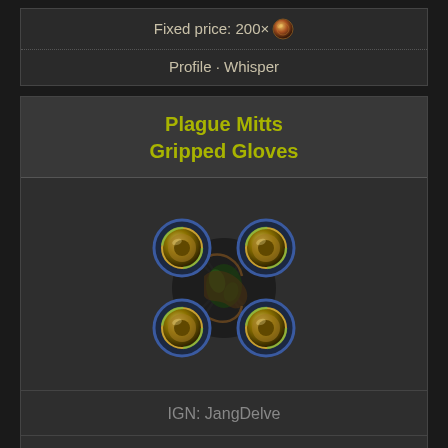Fixed price: 200× [chaos orb icon]
Profile · Whisper
Plague Mitts
Gripped Gloves
[Figure (illustration): Game item icon for Plague Mitts Gripped Gloves — four circular golden/blue ringed orbs connected by dark clawed tendrils in a square arrangement]
IGN: JangDelve
Level: 70
Dexterity: 95
Quality: 20%
Evasion: 264